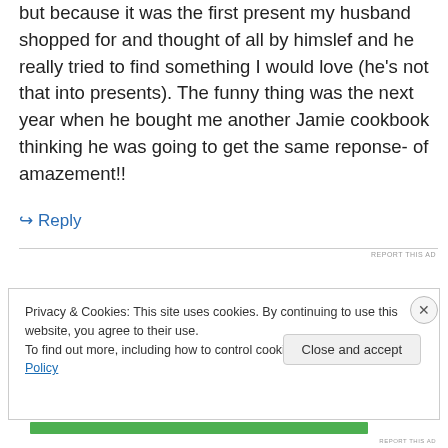but because it was the first present my husband shopped for and thought of all by himslef and he really tried to find something I would love (he's not that into presents). The funny thing was the next year when he bought me another Jamie cookbook thinking he was going to get the same reponse- of amazement!!
↳ Reply
REPORT THIS AD
Privacy & Cookies: This site uses cookies. By continuing to use this website, you agree to their use.
To find out more, including how to control cookies, see here: Cookie Policy
Close and accept